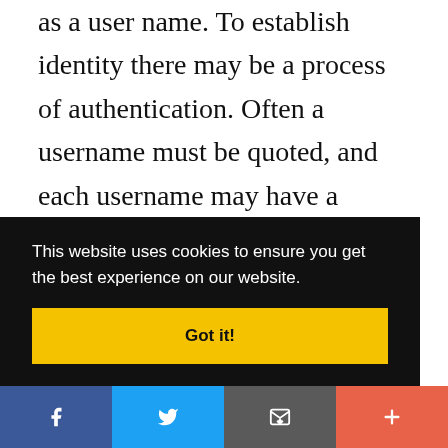as a user name. To establish identity there may be a process of authentication. Often a username must be quoted, and each username may have a password. Other methods of authentication, such as magnetic cards or biometric data, might be used instead. In some cases, especially connections from the network, resources may be used without authentication at all (and
This website uses cookies to ensure you get the best experience on our website.
Got it!
[Figure (infographic): Social sharing bar with Facebook, Twitter, Email, and More buttons]